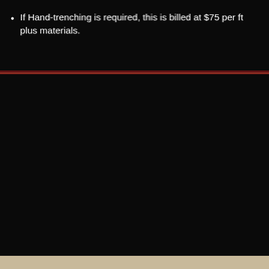If Hand-trenching is required, this is billed at $75 per ft plus materials.